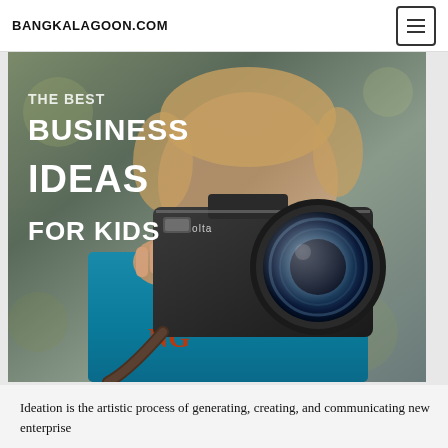BANGKALAGOON.COM
[Figure (photo): A young child holding a Minolta camera up to their face, pointing it at the viewer. Overlaid text reads 'THE BEST BUSINESS IDEAS FOR KIDS' in bold white uppercase letters on the left side of the image.]
Ideation is the artistic process of generating, creating, and communicating new enterprise